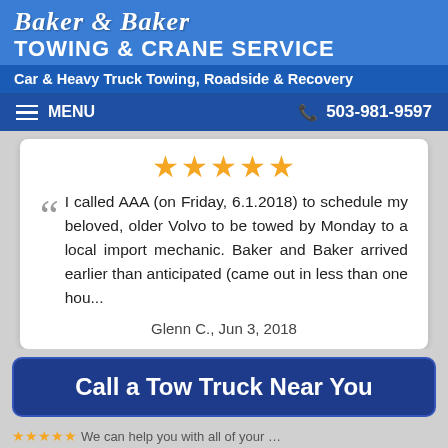Baker & Baker Towing & Crane Service
Car & Heavy Truck Towing, Roadside & Recovery
MENU   503-981-9597
[Figure (other): Five gold star rating icons]
I called AAA (on Friday, 6.1.2018) to schedule my beloved, older Volvo to be towed by Monday to a local import mechanic. Baker and Baker arrived earlier than anticipated (came out in less than one hou...
Glenn C., Jun 3, 2018
Call a Tow Truck Near You